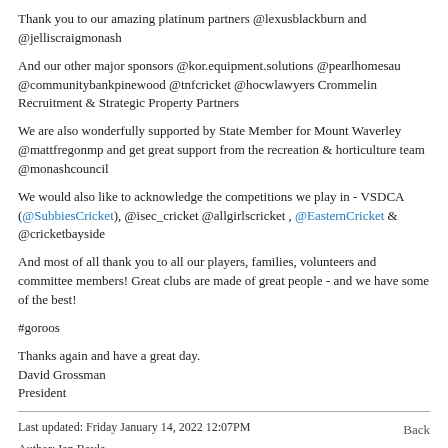Thank you to our amazing platinum partners @lexusblackburn and @jelliscraigmonash
And our other major sponsors @kor.equipment.solutions @pearlhomesau @communitybankpinewood @tnfcricket @hocwlawyers Crommelin Recruitment & Strategic Property Partners
We are also wonderfully supported by State Member for Mount Waverley @mattfregonmp and get great support from the recreation & horticulture team @monashcouncil
We would also like to acknowledge the competitions we play in - VSDCA (@SubbiesCricket), @isec_cricket @allgirlscricket , @EasternCricket & @cricketbayside
And most of all thank you to all our players, families, volunteers and committee members! Great clubs are made of great people - and we have some of the best!
#goroos
Thanks again and have a great day.
David Grossman
President
Last updated: Friday January 14, 2022 12:07PM
Author: Ian Boyle
Back